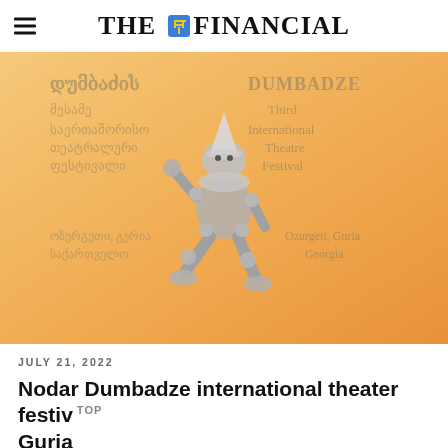THE FINANCIAL
[Figure (illustration): Festival poster for the Nodar Dumbadze Third International Theatre Festival in Ozurgeti, Guria, Georgia. Orange/yellow background with a silver metallic jester/clown figurine in a sitting pose wearing a pointed hat. Text in Georgian script and English reads: DUMBADZE, Third International Theatre Festival, Ozurgeti, Guria Georgia.]
JULY 21, 2022
Nodar Dumbadze international theater festiv  TOP
Guria